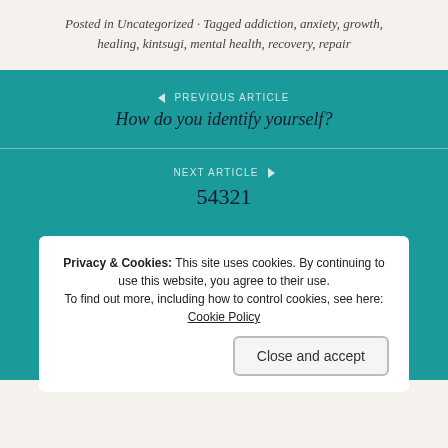Posted in Uncategorized · Tagged addiction, anxiety, growth, healing, kintsugi, mental health, recovery, repair
PREVIOUS ARTICLE
How do you identify yourself?
NEXT ARTICLE
54321
Privacy & Cookies: This site uses cookies. By continuing to use this website, you agree to their use.
To find out more, including how to control cookies, see here: Cookie Policy
Close and accept